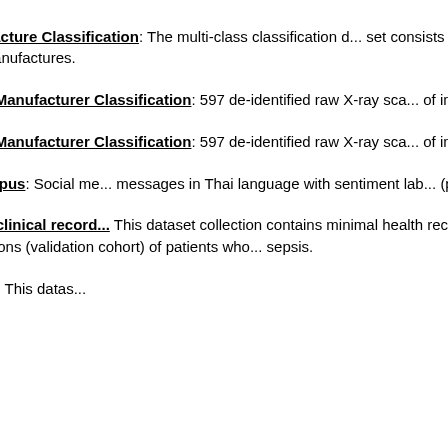ray scans showing implanted shoulder prosthe... from four manufactures.
107. Shoulder Implant Manufacture Classification: The multi-class classification dataset consists of 597 de-identified raw images of X-ray scans showing implanted shoulder prostheses from four manufactures.
108. Shoulder Implant X-Ray Manufacturer Classification: 597 de-identified raw X-ray scans of implanted shoulder prostheses from four manufactures.
109. Shoulder Implant X-Ray Manufacturer Classification: 597 de-identified raw X-ray scans of implanted shoulder prostheses from four manufactures.
110. Wisesight Sentiment Corpus: Social media messages in Thai language with sentiment labels (positive, neutral, negative, question).
111. Sepsis survival minimal clinical records: This dataset collection contains minimal health records of 110,204 admissions (primary cohort), 19,051 admissions (study cohort), and 137 admissions (validation cohort) of patients who had sepsis.
112. Kain Traditional Sambas: This dataset...